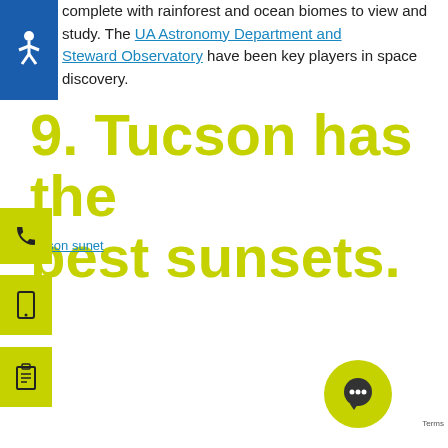complete with rainforest and ocean biomes to view and study. The UA Astronomy Department and Steward Observatory have been key players in space discovery.
9. Tucson has the best sunsets.
tucson sunet
[Figure (other): Accessibility widget icon (blue background with wheelchair symbol)]
[Figure (other): Phone call widget icon (yellow-green background with phone icon)]
[Figure (other): Mobile device widget icon (yellow-green background with tablet icon)]
[Figure (other): Clipboard widget icon (yellow-green background with clipboard icon)]
[Figure (other): Chat bubble icon (yellow-green circle with dark speech bubble)]
Terms